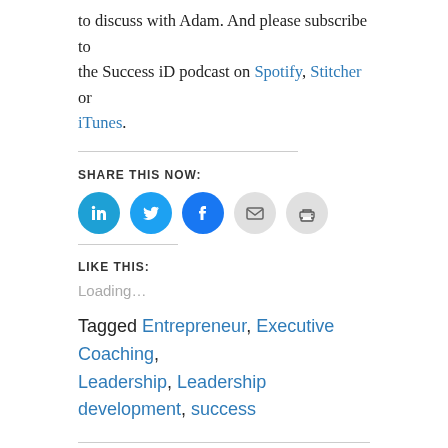to discuss with Glenn. And please subscribe to the Success iD podcast on Spotify, Stitcher or iTunes.
SHARE THIS NOW:
[Figure (infographic): Five social share icon buttons in circles: LinkedIn (blue), Twitter (blue), Facebook (blue), Email (light gray), Print (light gray)]
LIKE THIS:
Loading...
Tagged Entrepreneur, Executive Coaching, Leadership, Leadership development, success
PUBLISHED BY GLENN P WALLIS